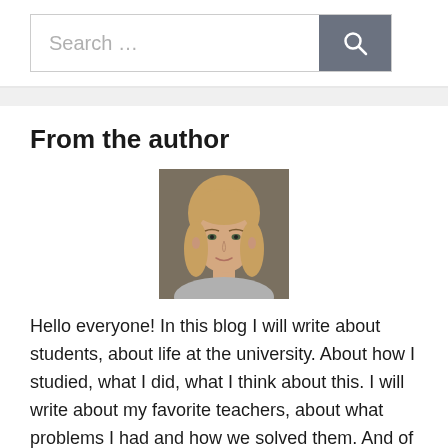Search ...
From the author
[Figure (photo): Portrait photo of a young woman with blonde hair, smiling slightly, against a gray-brown background.]
Hello everyone! In this blog I will write about students, about life at the university. About how I studied, what I did, what I think about this. I will write about my favorite teachers, about what problems I had and how we solved them. And of course, about the most